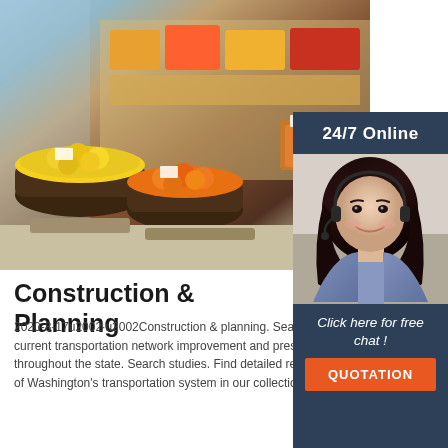[Figure (photo): Grocery store produce section with baskets of fruits and vegetables including oranges, lemons, and other colorful produce displayed on shelves and in wicker baskets]
[Figure (photo): Customer service representative woman with headset smiling, with '24/7 Online' text above and 'Click here for free chat!' and 'QUOTATION' button below on dark blue sidebar]
Construction & Planning
2020-8-17u2002·u2002Construction & planning. Search projects. Learn about current transportation network improvement and preservation activities throughout the state. Search studies. Find detailed reviews about specific areas of Washington's transportation system in our collection of planning studies.